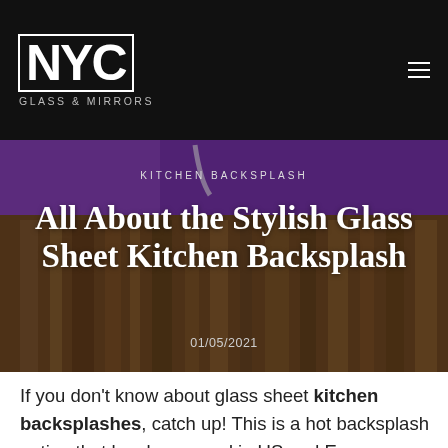NYC GLASS & MIRRORS
[Figure (photo): Kitchen backsplash photo showing a purple wall with wood countertop and a stainless steel faucet, overlaid with article title and category text]
KITCHEN BACKSPLASH
All About the Stylish Glass Sheet Kitchen Backsplash
01/05/2021
If you don't know about glass sheet kitchen backsplashes, catch up! This is a hot backsplash option that has been used in US and European markets for several years, especially in up-